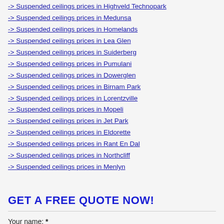-> Suspended ceilings prices in Highveld Technopark
-> Suspended ceilings prices in Medunsa
-> Suspended ceilings prices in Homelands
-> Suspended ceilings prices in Lea Glen
-> Suspended ceilings prices in Suiderberg
-> Suspended ceilings prices in Pumulani
-> Suspended ceilings prices in Dowerglen
-> Suspended ceilings prices in Birnam Park
-> Suspended ceilings prices in Lorentzville
-> Suspended ceilings prices in Mopeli
-> Suspended ceilings prices in Jet Park
-> Suspended ceilings prices in Eldorette
-> Suspended ceilings prices in Rant En Dal
-> Suspended ceilings prices in Northcliff
-> Suspended ceilings prices in Menlyn
GET A FREE QUOTE NOW!
Your name: *
Your email: